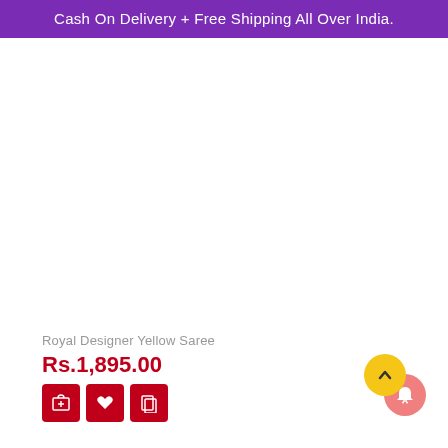Cash On Delivery + Free Shipping All Over India.
[Figure (photo): Product image area for Royal Designer Yellow Saree (blank/white area shown)]
Royal Designer Yellow Saree
Rs.1,895.00